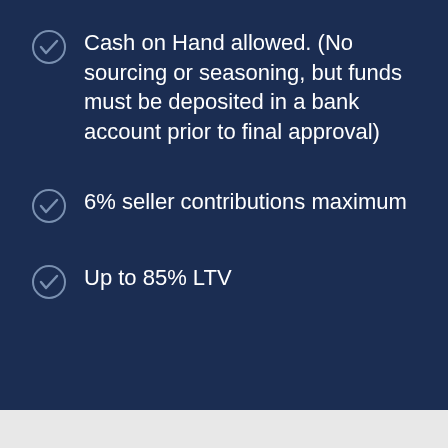Cash on Hand allowed. (No sourcing or seasoning, but funds must be deposited in a bank account prior to final approval)
6% seller contributions maximum
Up to 85% LTV